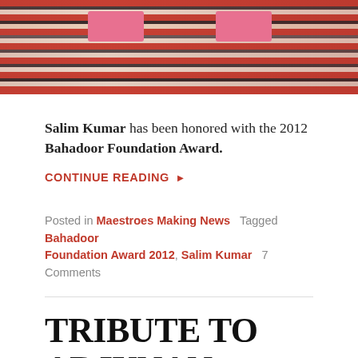[Figure (photo): Photo strip showing people in striped red/black/white patterned clothing with pink accents at the top of the page]
Salim Kumar has been honored with the 2012 Bahadoor Foundation Award.
CONTINUE READING ▸
Posted in Maestroes Making News   Tagged Bahadoor Foundation Award 2012, Salim Kumar   7 Comments
TRIBUTE TO ARJUNAN MASTER | SAJITH BHASKARAN'S UPDATE